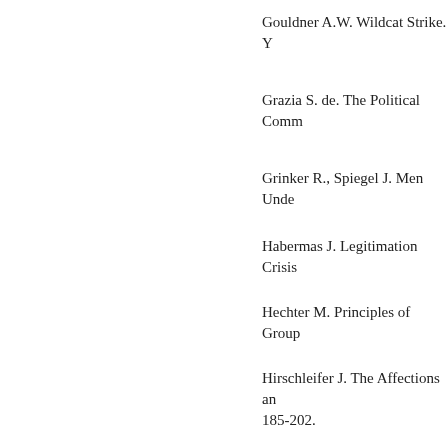Gouldner A.W. Wildcat Strike. Y
Grazia S. de. The Political Comm
Grinker R., Spiegel J. Men Unde
Habermas J. Legitimation Crisis
Hechter M. Principles of Group
Hirschleifer J. The Affections an 185-202.
Hirschman A.O. Exit, Voice, and MA: Harvard University Press,